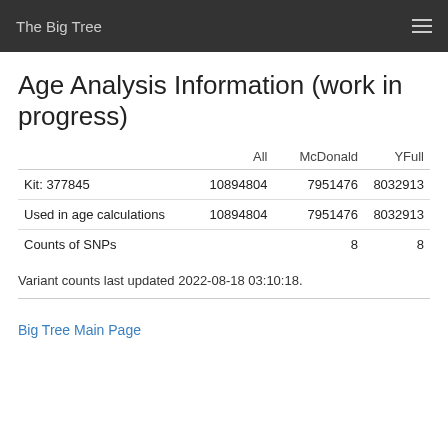The Big Tree
Age Analysis Information (work in progress)
|  | All | McDonald | YFull |
| --- | --- | --- | --- |
| Kit: 377845 | 10894804 | 7951476 | 8032913 |
| Used in age calculations | 10894804 | 7951476 | 8032913 |
| Counts of SNPs |  | 8 | 8 |
Variant counts last updated 2022-08-18 03:10:18.
Big Tree Main Page